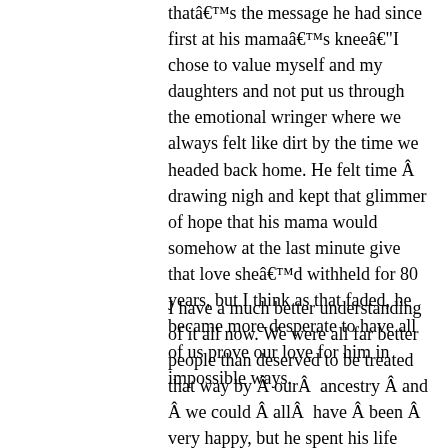that's the message he had since first at his mama's knee—I chose to value myself and my daughters and not put us through the emotional wringer where we always felt like dirt by the time we headed back home. He felt time Â drawing nigh and kept that glimmer of hope that his mama would somehow at the last minute give that love she'd withheld for 80 years, but I think as that faded, he became more desperate to have all of us prove our love for him in impossible ways.
I have a much better understanding of it all now. We were all far better people than deserved to be treated that way by Â ourÂ  ancestry Â and Â we could Â allÂ  have Â been Â very happy, but he spent his life trying to win her love without simply Â deciding Â she Â was Â wrong Â about Â him…or Â any Â of us…and walking away from her. We were all lacking in her eyes, and we felt it in every breath for all our lives. Especially him. An impossible place to